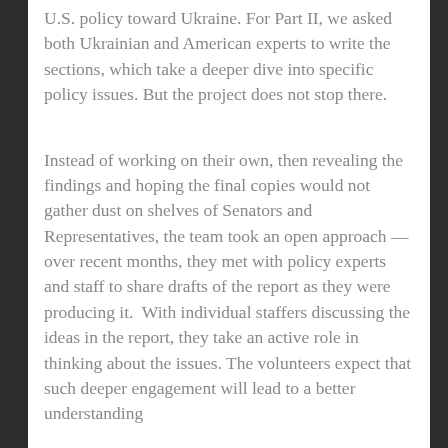U.S. policy toward Ukraine. For Part II, we asked both Ukrainian and American experts to write the sections, which take a deeper dive into specific policy issues. But the project does not stop there.
Instead of working on their own, then revealing the findings and hoping the final copies would not gather dust on shelves of Senators and Representatives, the team took an open approach — over recent months, they met with policy experts and staff to share drafts of the report as they were producing it.  With individual staffers discussing the ideas in the report, they take an active role in thinking about the issues. The volunteers expect that such deeper engagement will lead to a better understanding